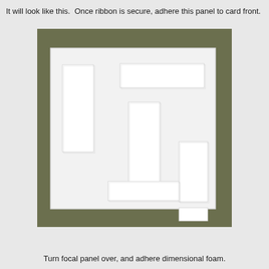It will look like this.  Once ribbon is secure, adhere this panel to card front.
[Figure (photo): A white panel/card with several white rectangular foam pieces arranged on it, placed on a dark olive/green background surface. The foam pieces are of various sizes arranged at different positions on the white card.]
Turn focal panel over, and adhere dimensional foam.